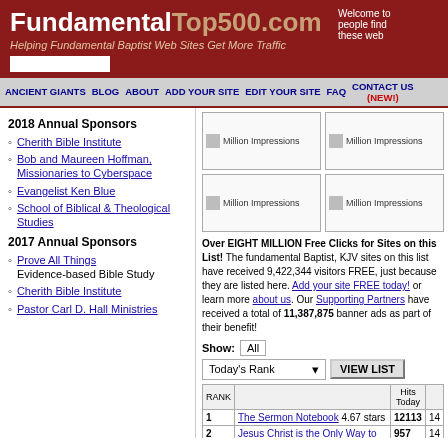FundamentalTop500.com - Helping Fundamental Baptist Web Sites Get More Traffic
2018 Annual Sponsors
Cherith Bible Institute
Bob and Maureen Hoffman, Missionaries to Cyberspace
Evangelist Ken Blue
School of Biblical & Theological Studies
2017 Annual Sponsors
Prove All Things - Evidence-based Bible Study
Cherith Bible Institute
Pastor Carl D. Hall Ministries
[Figure (screenshot): Four ad banners labeled 'Million Impressions' arranged in a 2x2 grid]
Over EIGHT MILLION Free Clicks for Sites on this List! The fundamental Baptist, KJV sites on this list have received 9,422,344 visitors FREE, just because they are listed here. Add your site FREE today! or learn more about us. Our Supporting Partners have received a total of 11,387,875 banner ads as part of their benefit!
| RANK |  | Hits Today |  |
| --- | --- | --- | --- |
| 1 | The Sermon Notebook 4.67 stars | 12113 | 14 |
| 2 | Jesus Christ is the Only Way to Heaven! | 957 | 14 |
| 3 | The Preachers Corner Org. | 832 | 75 |